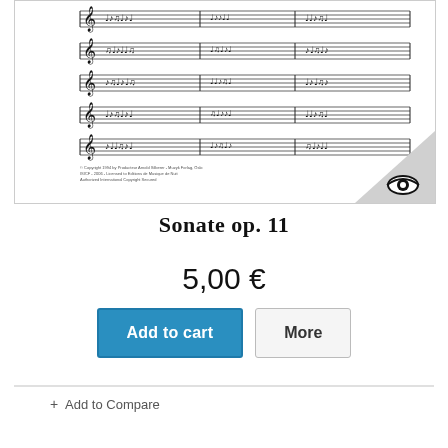[Figure (illustration): Sheet music preview image showing multiple staves of musical notation for 'Sonate op. 11', with an eye icon in the bottom-right corner on a gray triangle.]
Sonate op. 11
5,00 €
Add to cart
More
+ Add to Compare